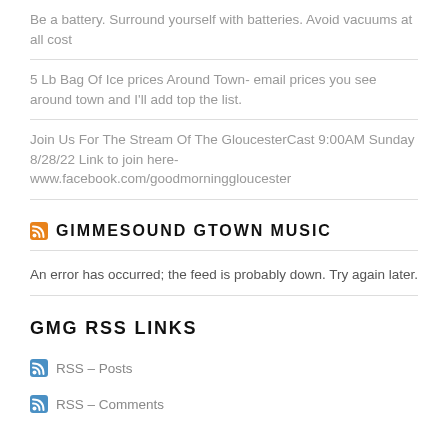Be a battery. Surround yourself with batteries. Avoid vacuums at all cost
5 Lb Bag Of Ice prices Around Town- email prices you see around town and I'll add top the list.
Join Us For The Stream Of The GloucesterCast 9:00AM Sunday 8/28/22 Link to join here- www.facebook.com/goodmorninggloucester
GIMMESOUND GTOWN MUSIC
An error has occurred; the feed is probably down. Try again later.
GMG RSS LINKS
RSS – Posts
RSS – Comments